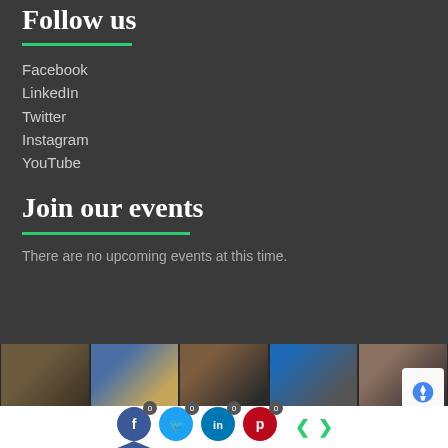Follow us
Facebook
LinkedIn
Twitter
Instagram
YouTube
Join our events
There are no upcoming events at this time.
[Figure (photo): Strip of 5 thumbnail photos showing conference/event scenes with groups of people]
[Figure (screenshot): Social sharing bar with Facebook, Twitter, LinkedIn, Pinterest buttons showing 0 counts, plus left/right navigation arrows]